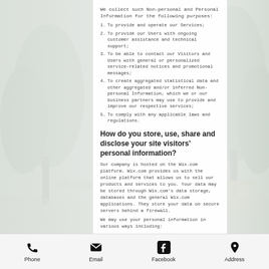We collect such Non-personal and Personal Information for the following purposes:
1. To provide and operate our Services;
2. To provide our Users with ongoing customer assistance and technical support;
3. To be able to contact our Visitors and Users with general or personalized service-related notices and promotional messages;
4. To create aggregated statistical data and other aggregated and/or inferred Non-personal Information, which we or our business partners may use to provide and improve our respective services;
5. To comply with any applicable laws and regulations.
How do you store, use, share and disclose your site visitors' personal information?
Our company is hosted on the Wix.com platform. Wix.com provides us with the online platform that allows us to sell our products and services to you. Your data may be stored through Wix.com's data storage, databases and the general Wix.com applications. They store your data on secure servers behind a firewall.
We may use your personal information in various ways including:
Action any requests you make
To allow us to run, maintain and develop our business
Phone  Email  Facebook  Address